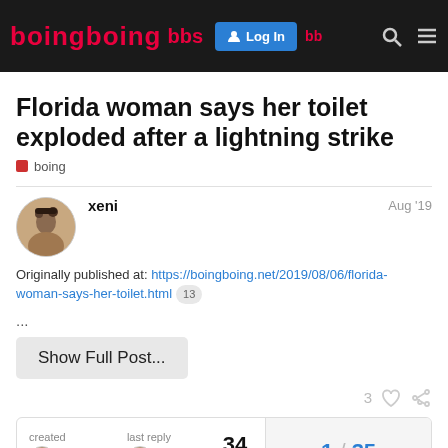Boing Boing bbs — Log In
Florida woman says her toilet exploded after a lightning strike
boing
xeni  Aug '19
Originally published at: https://boingboing.net/2019/08/06/florida-woman-says-her-toilet.html  13
...
Show Full Post...
3
created Aug '19  last reply Aug '19  34 replies  1 / 35